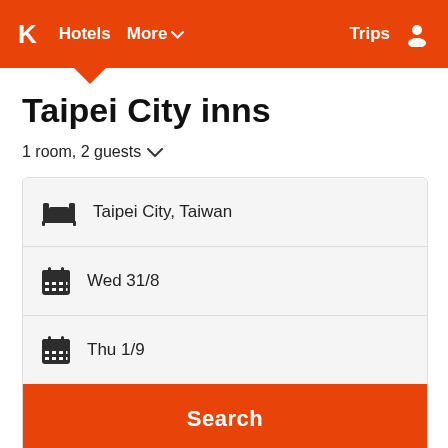K  Hotels  More  Trips
Taipei City inns
1 room, 2 guests
Taipei City, Taiwan
Wed 31/8
Thu 1/9
Search